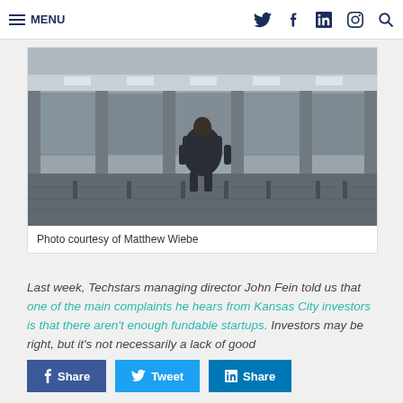MENU [navigation icons: Twitter, Facebook, LinkedIn, Instagram, Search]
[Figure (photo): Man in suit standing with his back to camera facing large glass building with columns, urban setting, monochrome tone]
Photo courtesy of Matthew Wiebe
Last week, Techstars managing director John Fein told us that one of the main complaints he hears from Kansas City investors is that there aren't enough fundable startups. Investors may be right, but it's not necessarily a lack of good
Share  Tweet  Share